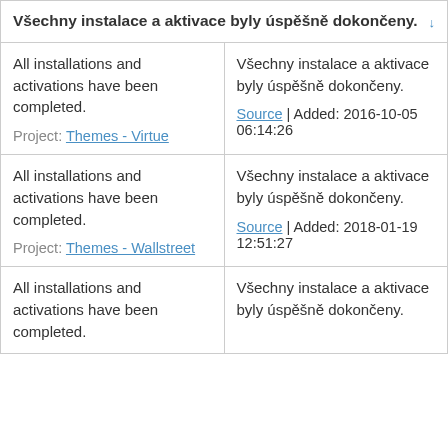|  |  |
| --- | --- |
| Všechny instalace a aktivace byly úspěšně dokončeny. | ↓ |
| All installations and activations have been completed.
Project: Themes - Virtue | Všechny instalace a aktivace byly úspěšně dokončeny.
Source | Added: 2016-10-05 06:14:26 |
| All installations and activations have been completed.
Project: Themes - Wallstreet | Všechny instalace a aktivace byly úspěšně dokončeny.
Source | Added: 2018-01-19 12:51:27 |
| All installations and activations have been completed. | Všechny instalace a aktivace byly úspěšně dokončeny. |